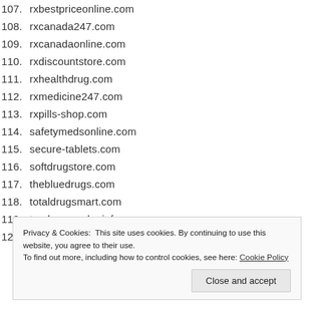107. rxbestpriceonline.com
108. rxcanada247.com
109. rxcanadaonline.com
110. rxdiscountstore.com
111. rxhealthdrug.com
112. rxmedicine247.com
113. rxpills-shop.com
114. safetymedsonline.com
115. secure-tablets.com
116. softdrugstore.com
117. thebluedrugs.com
118. totaldrugsmart.com
119. track-my-order.info
120. us-ds.com
Privacy & Cookies: This site uses cookies. By continuing to use this website, you agree to their use. To find out more, including how to control cookies, see here: Cookie Policy